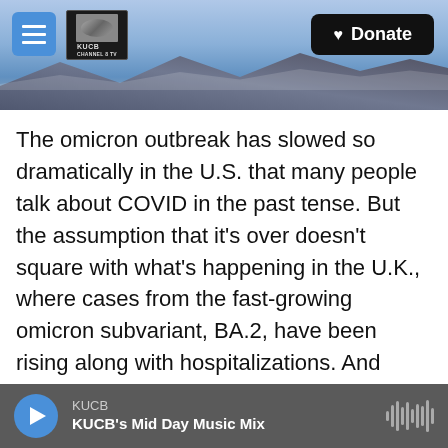[Figure (screenshot): KUCB website header with mountain/snowy landscape background, a hamburger menu button on the left, KUCB Channel 8 TV logo, and a black Donate button with heart icon on the right.]
The omicron outbreak has slowed so dramatically in the U.S. that many people talk about COVID in the past tense. But the assumption that it's over doesn't square with what's happening in the U.K., where cases from the fast-growing omicron subvariant, BA.2, have been rising along with hospitalizations. And there are some signs in the U.S. - could see some bumps in cases, as well. NPR's Allison Aubrey joins us now. Allison, so how significant is this outbreak in the U.K.?
ALLISON AUBREY, BYLINE: Good morning, A. Well, daily case counts have more than doubled over the
KUCB
KUCB's Mid Day Music Mix